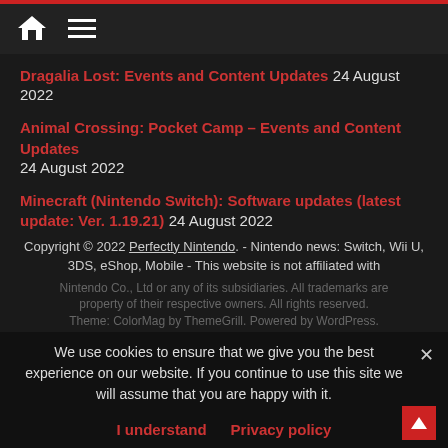Home | Menu
Dragalia Lost: Events and Content Updates 24 August 2022
Animal Crossing: Pocket Camp – Events and Content Updates 24 August 2022
Minecraft (Nintendo Switch): Software updates (latest update: Ver. 1.19.21) 24 August 2022
Copyright © 2022 Perfectly Nintendo. - Nintendo news: Switch, Wii U, 3DS, eShop, Mobile - This website is not affiliated with Nintendo Co., Ltd or any of its subsidiaries. All trademarks are property of their respective owners. All rights reserved. Theme: ColorMag by ThemeGrill. Powered by WordPress.
We use cookies to ensure that we give you the best experience on our website. If you continue to use this site we will assume that you are happy with it.
I understand   Privacy policy